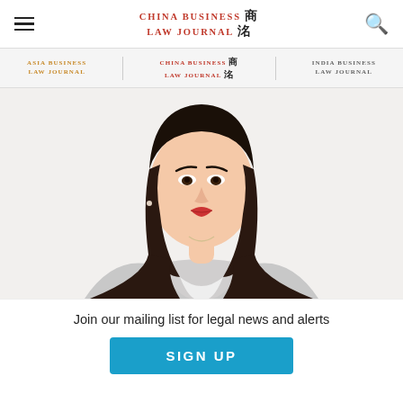CHINA BUSINESS LAW JOURNAL 商洛
[Figure (logo): Navigation bar with Asia Business Law Journal, China Business Law Journal, India Business Law Journal logos]
[Figure (photo): Professional headshot of a young East Asian woman with long dark brown hair, wearing a light grey blazer and white blouse, red lipstick, against a white background]
Join our mailing list for legal news and alerts
SIGN UP